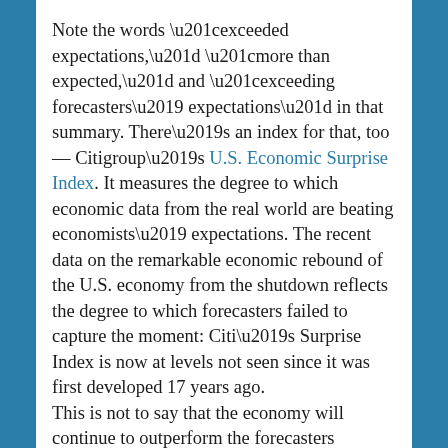Note the words “exceeded expectations,” “more than expected,” and “exceeding forecasters’ expectations” in that summary. There’s an index for that, too — Citigroup’s U.S. Economic Surprise Index. It measures the degree to which economic data from the real world are beating economists’ expectations. The recent data on the remarkable economic rebound of the U.S. economy from the shutdown reflects the degree to which forecasters failed to capture the moment: Citi’s Surprise Index is now at levels not seen since it was first developed 17 years ago. This is not to say that the economy will continue to outperform the forecasters forever. But for now, the forward momentum of the economy as measured not only by the various indexes, but also by how much it is exceeding forecasters’